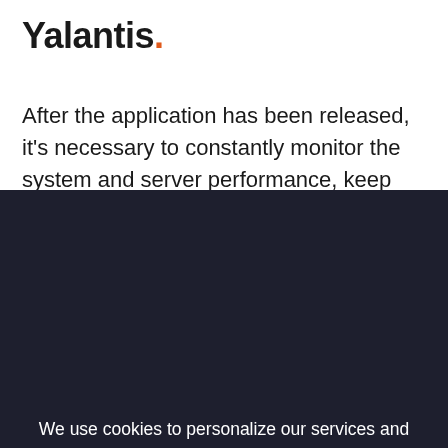Yalantis
After the application has been released, it's necessary to constantly monitor the system and server performance, keep track of
We use cookies to personalize our services and improve your experience on this website and its subdomains. We may use certain personal data for analytics and marketing purposes. Please read our Privacy Policy before using this website.
I AGREE
I need to see Privacy Policy first